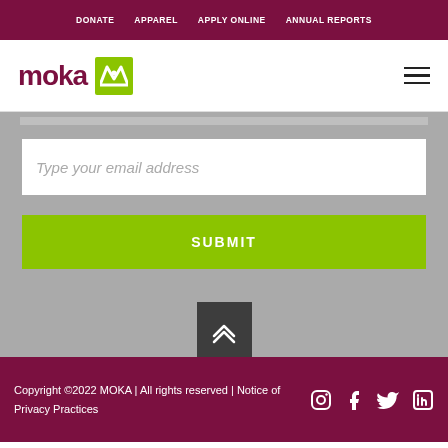DONATE  APPAREL  APPLY ONLINE  ANNUAL REPORTS
[Figure (logo): moka logo with green M icon]
Type your email address
SUBMIT
Copyright ©2022 MOKA | All rights reserved | Notice of Privacy Practices